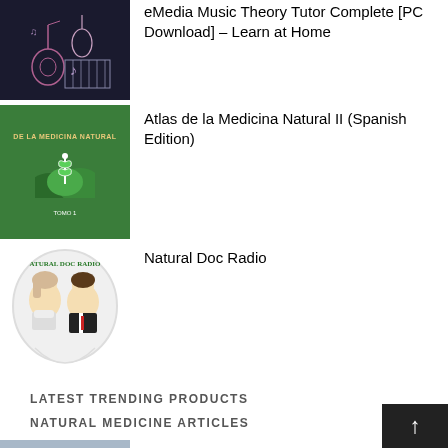[Figure (photo): Music theory product image - dark background with guitar and violin outlines]
eMedia Music Theory Tutor Complete [PC Download] – Learn at Home
[Figure (photo): Atlas de la Medicina Natural II book cover - green hills with medical symbol]
Atlas de la Medicina Natural II (Spanish Edition)
[Figure (photo): Natural Doc Radio logo - circular image with two people (man and woman)]
Natural Doc Radio
LATEST TRENDING PRODUCTS
NATURAL MEDICINE ARTICLES
[Figure (photo): Natural life dog foods - green leaf with dropper bottle and small pills]
Natural Life Dog Foods